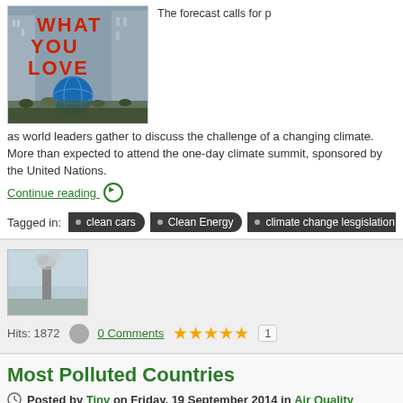[Figure (photo): Protest march photo with people holding a large sign reading 'WHAT YOU LOVE' in red letters and a large globe balloon, set against city skyscrapers]
The forecast calls for p
as world leaders gather to discuss the challenge of a changing climate. More than expected to attend the one-day climate summit, sponsored by the United Nations.
Continue reading ▶
Tagged in:  • clean cars  • Clean Energy  • climate change lesgislation  •
[Figure (photo): Small thumbnail of an industrial chimney with smoke]
Hits: 1872  0 Comments  ★★★★★ 1
Most Polluted Countries
Posted by Tiny on Friday, 19 September 2014 in Air Quality